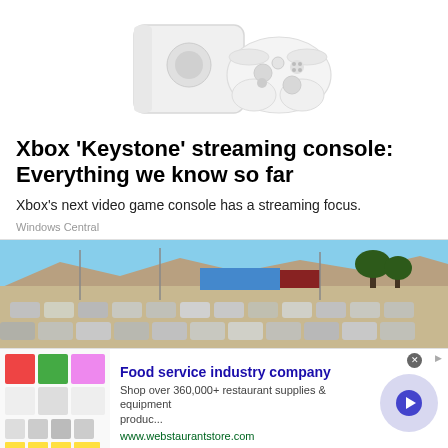[Figure (photo): Xbox Series S console and white controller on white background]
Xbox 'Keystone' streaming console: Everything we know so far
Xbox's next video game console has a streaming focus.
Windows Central
[Figure (photo): Large parking lot filled with cars, industrial buildings and dry landscape in the background]
[Figure (other): Advertisement: Food service industry company - Shop over 360,000+ restaurant supplies & equipment produc... www.webstaurantstore.com]